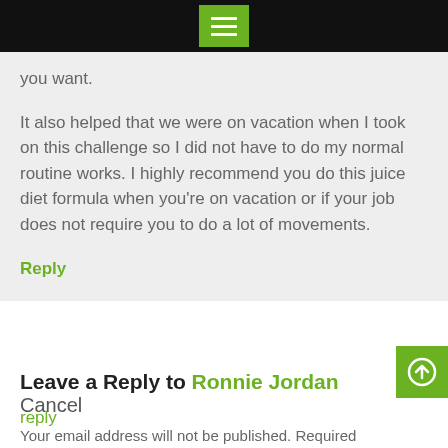[Menu icon]
you want.
It also helped that we were on vacation when I took on this challenge so I did not have to do my normal routine works. I highly recommend you do this juice diet formula when you're on vacation or if your job does not require you to do a lot of movements.
Reply
Leave a Reply to Ronnie Jordan Cancel reply
Your email address will not be published. Required